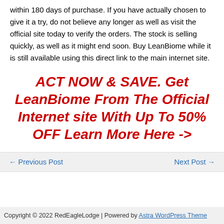within 180 days of purchase. If you have actually chosen to give it a try, do not believe any longer as well as visit the official site today to verify the orders. The stock is selling quickly, as well as it might end soon. Buy LeanBiome while it is still available using this direct link to the main internet site.
ACT NOW & SAVE. Get LeanBiome From The Official Internet site With Up To 50% OFF Learn More Here ->
← Previous Post
Next Post →
Copyright © 2022 RedEagleLodge | Powered by Astra WordPress Theme